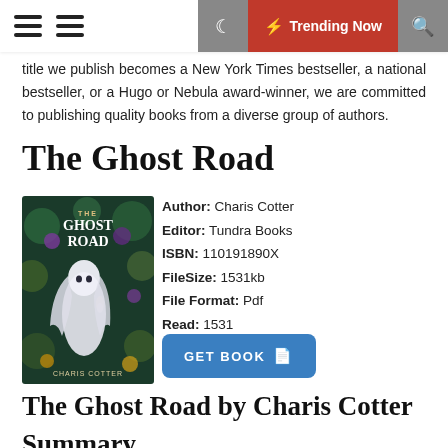Navigation bar with hamburger menus, moon icon, Trending Now button, and search icon
title we publish becomes a New York Times bestseller, a national bestseller, or a Hugo or Nebula award-winner, we are committed to publishing quality books from a diverse group of authors.
The Ghost Road
[Figure (illustration): Book cover of The Ghost Road by Charis Cotter, showing a ghostly white-haired girl against a dark floral background with a candle]
Author: Charis Cotter
Editor: Tundra Books
ISBN: 110191890X
FileSize: 1531kb
File Format: Pdf
Read: 1531
GET BOOK
The Ghost Road by Charis Cotter
Summary